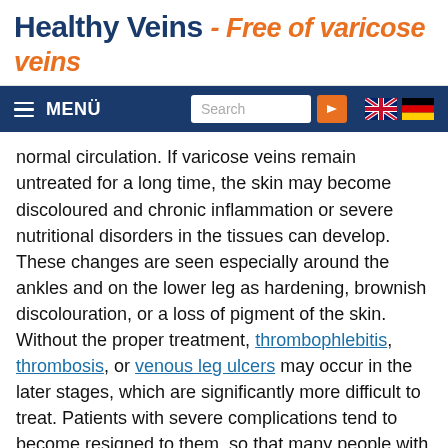Healthy Veins - Free of varicose veins
[Figure (screenshot): Navigation bar with hamburger menu MENÜ, search box, arrow button, UK and German flag icons]
normal circulation. If varicose veins remain untreated for a long time, the skin may become discoloured and chronic inflammation or severe nutritional disorders in the tissues can develop. These changes are seen especially around the ankles and on the lower leg as hardening, brownish discolouration, or a loss of pigment of the skin. Without the proper treatment, thrombophlebitis, thrombosis, or venous leg ulcers may occur in the later stages, which are significantly more difficult to treat. Patients with severe complications tend to become resigned to them, so that many people with leg ulcers suffer for some years before they finally seek help.
Complications can be prevented if varicose veins are diagnosed promptly and treated correctly! So take even minor changes seriously and go and see a doctor sooner